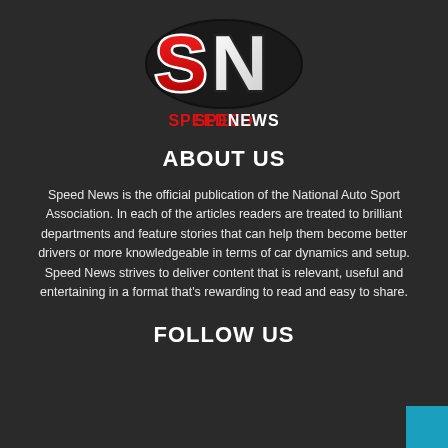[Figure (logo): SpeedNews logo with stylized SN letters in red, white and black gradient, with SPEEDNEWS text below in red and white]
ABOUT US
Speed News is the official publication of the National Auto Sport Association. In each of the articles readers are treated to brilliant departments and feature stories that can help them become better drivers or more knowledgeable in terms of car dynamics and setup. Speed News strives to deliver content that is relevant, useful and entertaining in a format that's rewarding to read and easy to share.
FOLLOW US